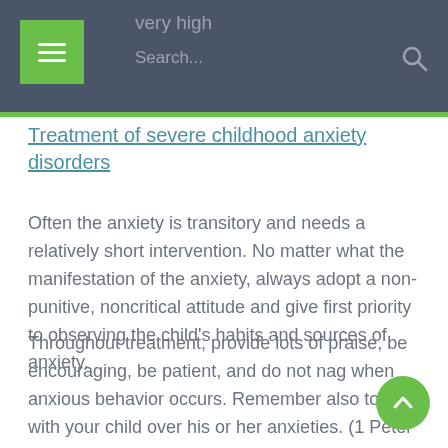very high
Search...
Treatment of severe childhood anxiety disorders
Often the anxiety is transitory and needs a relatively short intervention. No matter what the manifestation of the anxiety, always adopt a non-punitive, noncritical attitude and give first priority to observing the child's habits and sources of anxiety.
Throughout treatment, provide lots of praise, be encouraging, be patient, and do not nag when anxious behavior occurs. Remember also to pray with your child over his or her anxieties. (1 Peter 5:7) God offers